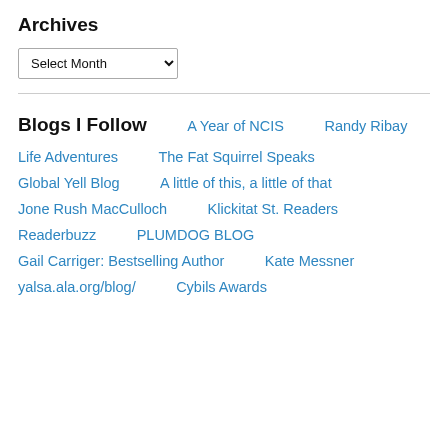Archives
Select Month
Blogs I Follow
A Year of NCIS
Randy Ribay
Life Adventures
The Fat Squirrel Speaks
Global Yell Blog
A little of this, a little of that
Jone Rush MacCulloch
Klickitat St. Readers
Readerbuzz
PLUMDOG BLOG
Gail Carriger: Bestselling Author
Kate Messner
yalsa.ala.org/blog/
Cybils Awards